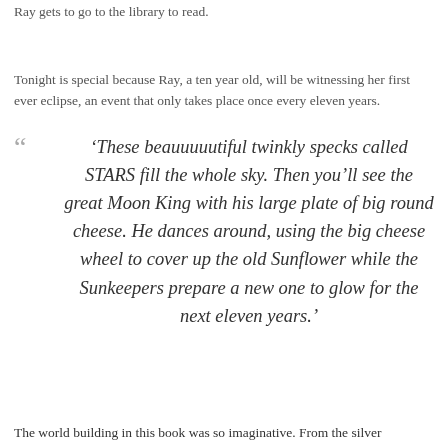Ray gets to go to the library to read.
Tonight is special because Ray, a ten year old, will be witnessing her first ever eclipse, an event that only takes place once every eleven years.
“These beauuuuutiful twinkly specks called STARS fill the whole sky. Then you’ll see the great Moon King with his large plate of big round cheese. He dances around, using the big cheese wheel to cover up the old Sunflower while the Sunkeepers prepare a new one to glow for the next eleven years.’
The world building in this book was so imaginative. From the silver